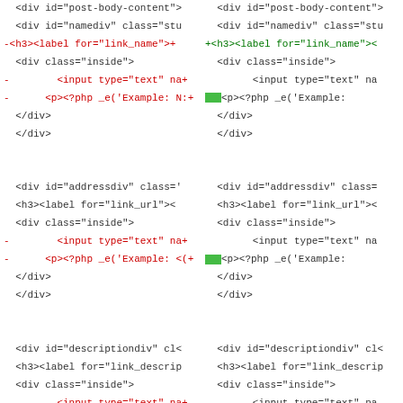[Figure (screenshot): A two-column diff view of PHP/HTML code. Left column shows removed lines (red with minus prefix) and context lines (black). Right column shows added lines (green with plus prefix) and context lines (black). The diff shows changes to a WordPress link editor template including post-body-content div, namediv, addressdiv, and descriptiondiv sections, with input fields and PHP helper text, plus additions of postbox-container div and a PHPDoc comment block.]